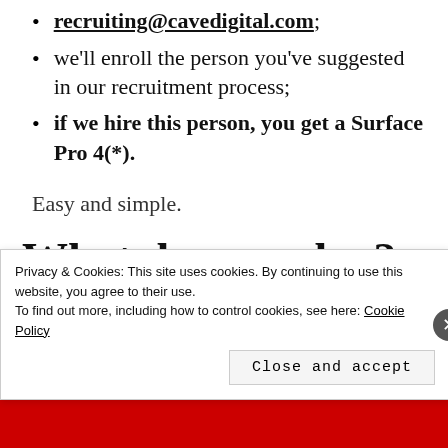recruiting@cavedigital.com;
we'll enroll the person you've suggested in our recruitment process;
if we hire this person, you get a Surface Pro 4(*).
Easy and simple.
What do we value?
C#, SQL, HTML, CSS and
Privacy & Cookies: This site uses cookies. By continuing to use this website, you agree to their use. To find out more, including how to control cookies, see here: Cookie Policy
Close and accept